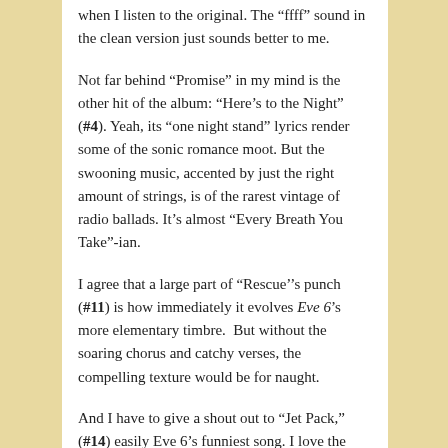when I listen to the original. The “fff” sound in the clean version just sounds better to me.
Not far behind “Promise” in my mind is the other hit of the album: “Here’s to the Night” (#4). Yeah, its “one night stand” lyrics render some of the sonic romance moot. But the swooning music, accented by just the right amount of strings, is of the rarest vintage of radio ballads. It’s almost “Every Breath You Take”-ian.
I agree that a large part of “Rescue’’s punch (#11) is how immediately it evolves Eve 6’s more elementary timbre.  But without the soaring chorus and catchy verses, the compelling texture would be for naught.
And I have to give a shout out to “Jet Pack,” (#14) easily Eve 6’s funniest song. I love the bridge (“What the hell are you talking about…”) almost as much as I love the image of all of Collins’ friends trying to figure out if this song is about them.